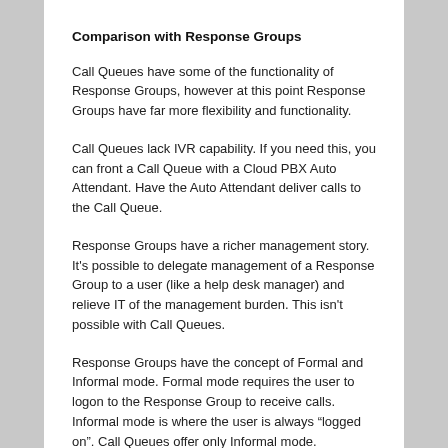Comparison with Response Groups
Call Queues have some of the functionality of Response Groups, however at this point Response Groups have far more flexibility and functionality.
Call Queues lack IVR capability. If you need this, you can front a Call Queue with a Cloud PBX Auto Attendant. Have the Auto Attendant deliver calls to the Call Queue.
Response Groups have a richer management story. It’s possible to delegate management of a Response Group to a user (like a help desk manager) and relieve IT of the management burden. This isn’t possible with Call Queues.
Response Groups have the concept of Formal and Informal mode. Formal mode requires the user to logon to the Response Group to receive calls. Informal mode is where the user is always “logged on”. Call Queues offer only Informal mode.